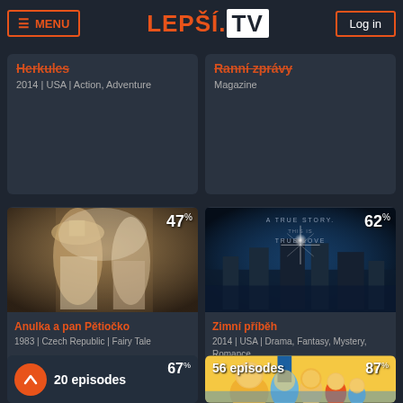≡ MENU   LEPŠÍ.TV   Log in
[Figure (screenshot): Partial movie card: Herkules 2014 | USA | Action, Adventure]
[Figure (screenshot): Partial TV card: Ranní zprávy | Magazine]
[Figure (photo): Movie thumbnail for Anulka a pan Pětiočko, 47%]
Anulka a pan Pětiočko
1983 | Czech Republic | Fairy Tale
[Figure (photo): Movie thumbnail for Zimní příběh, 62%]
Zimní příběh
2014 | USA | Drama, Fantasy, Mystery, Romance
[Figure (screenshot): TV series card: 20 episodes, 67%]
[Figure (screenshot): TV series card: 56 episodes (Simpsons), 87%]